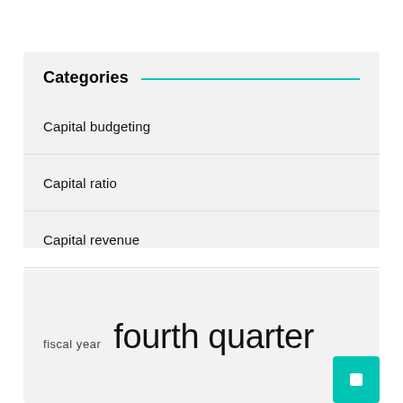Categories
Capital budgeting
Capital ratio
Capital revenue
Capital sales
Capital stock
fiscal year  fourth quarter